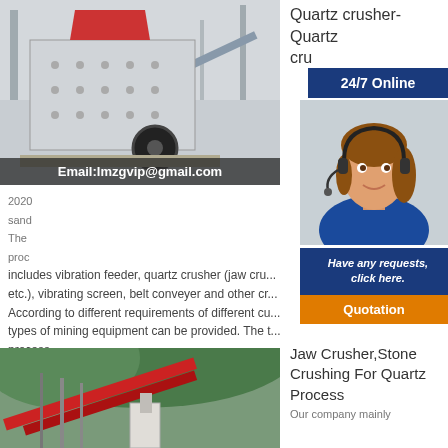[Figure (photo): Industrial quartz crusher machine in a factory/warehouse setting with Email:lmzgvip@gmail.com overlay at bottom]
Quartz crusher- Quartz cru...
24/7 Online
[Figure (photo): Customer service agent woman wearing headset, with Have any requests, click here. and Quotation button]
2020... sand... The... proc...
includes vibration feeder, quartz crusher (jaw cru... etc.), vibrating screen, belt conveyer and other cr... According to different requirements of different cu... types of mining equipment can be provided. The t... process
[Figure (photo): Stone crushing facility with conveyors and crusher equipment against hillside backdrop]
Jaw Crusher,Stone Crushing For Quartz Process
Our company mainly